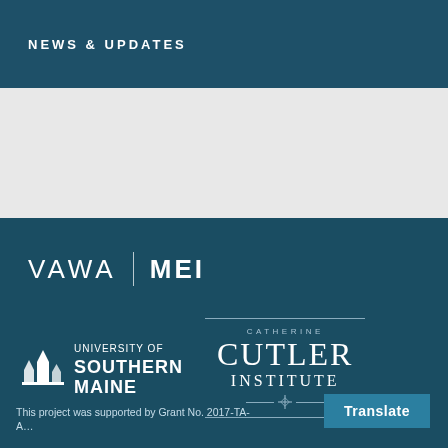NEWS & UPDATES
[Figure (logo): VAWA MEI logo text in white on dark teal background]
[Figure (logo): University of Southern Maine logo with white sailboat icon and text]
[Figure (logo): Catherine Cutler Institute logo in white serif text with decorative lines]
This project was supported by Grant No. 2017-TA-A…